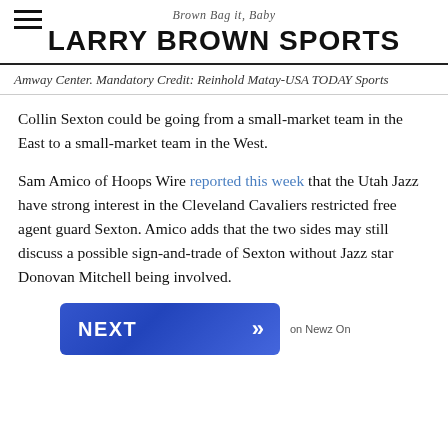Brown Bag it, Baby
LARRY BROWN SPORTS
Amway Center. Mandatory Credit: Reinhold Matay-USA TODAY Sports
Collin Sexton could be going from a small-market team in the East to a small-market team in the West.
Sam Amico of Hoops Wire reported this week that the Utah Jazz have strong interest in the Cleveland Cavaliers restricted free agent guard Sexton. Amico adds that the two sides may still discuss a possible sign-and-trade of Sexton without Jazz star Donovan Mitchell being involved.
[Figure (other): NEXT button with double chevron arrow, blue gradient background, with 'on Newz On' label to the right]